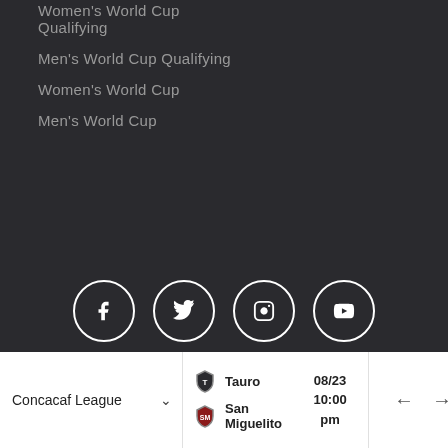Women's World Cup Qualifying
Men's World Cup Qualifying
Women's World Cup
Men's World Cup
[Figure (infographic): Social media icon buttons: Facebook, Twitter, Instagram, YouTube — white icons in circular outlines on dark background]
En español   Terms & Conditions   Privacy Policy   Contact Us   Media   Careers   Back to top
© 2021 CONCACAF. All rights reserved.
Concacaf League   Tauro   San Miguelito   08/23 10:00 pm